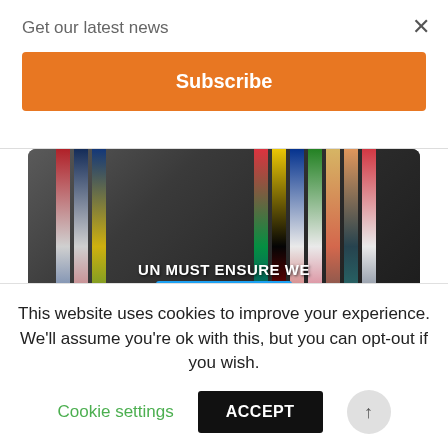Get our latest news
×
Subscribe
[Figure (photo): Photograph of international flags hanging on a stone building, overlaid with white bold text: 'UN MUST ENSURE WE', blue highlighted hashtag '#StopPutinsWar', and 'BY PASSING TODAY'S RESOLUTION']
1  2
GlobalFocus C  @GlobalFoc  Mar 1
This website uses cookies to improve your experience. We'll assume you're ok with this, but you can opt-out if you wish.
Cookie settings
ACCEPT